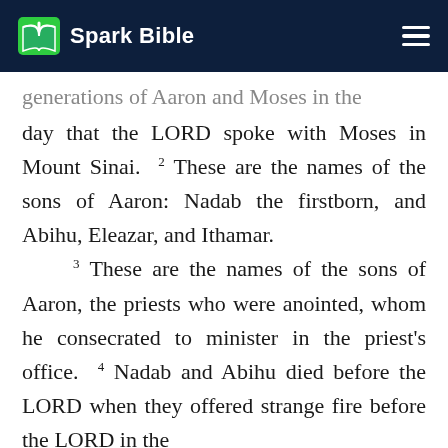Spark Bible
generations of Aaron and Moses in the day that the LORD spoke with Moses in Mount Sinai. 2 These are the names of the sons of Aaron: Nadab the firstborn, and Abihu, Eleazar, and Ithamar. 3 These are the names of the sons of Aaron, the priests who were anointed, whom he consecrated to minister in the priest's office. 4 Nadab and Abihu died before the LORD when they offered strange fire before the LORD in the